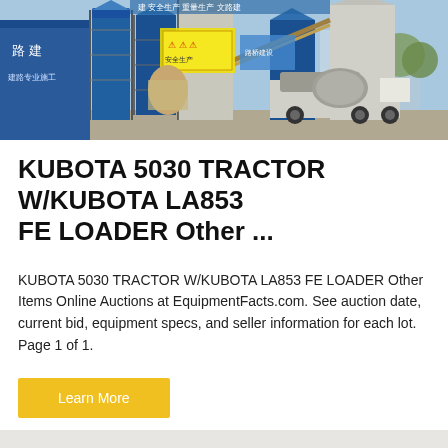[Figure (photo): Industrial concrete batching plant with blue silos, steel scaffolding, and a concrete mixer truck. Chinese signage visible on buildings in background.]
KUBOTA 5030 TRACTOR W/KUBOTA LA853 FE LOADER Other ...
KUBOTA 5030 TRACTOR W/KUBOTA LA853 FE LOADER Other Items Online Auctions at EquipmentFacts.com. See auction date, current bid, equipment specs, and seller information for each lot. Page 1 of 1.
Learn More
[Figure (photo): Partial view of a dark-colored vehicle or equipment, light gray background, with a circular scroll-to-top button overlay in bottom right.]